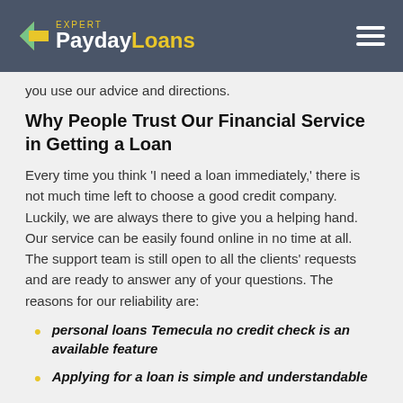PaydayLoans Expert
you use our advice and directions.
Why People Trust Our Financial Service in Getting a Loan
Every time you think ‘I need a loan immediately,’ there is not much time left to choose a good credit company. Luckily, we are always there to give you a helping hand. Our service can be easily found online in no time at all. The support team is still open to all the clients’ requests and are ready to answer any of your questions. The reasons for our reliability are:
personal loans Temecula no credit check is an available feature
Applying for a loan is simple and understandable